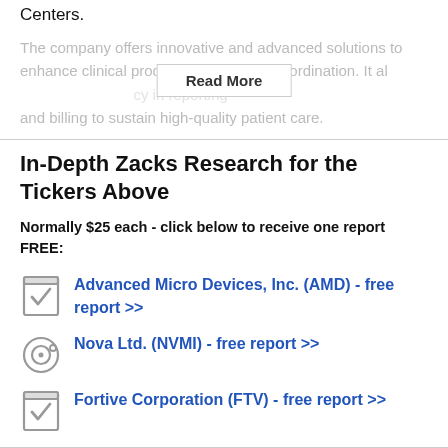Centers.
The company offers innovative and advanced solutions to enhance clinical productivity and care coordination. It al... cy in reporting and billing to sustain high-quality patient care.
In-Depth Zacks Research for the Tickers Above
Normally $25 each - click below to receive one report FREE:
Advanced Micro Devices, Inc. (AMD) - free report >>
Nova Ltd. (NVMI) - free report >>
Fortive Corporation (FTV) - free report >>